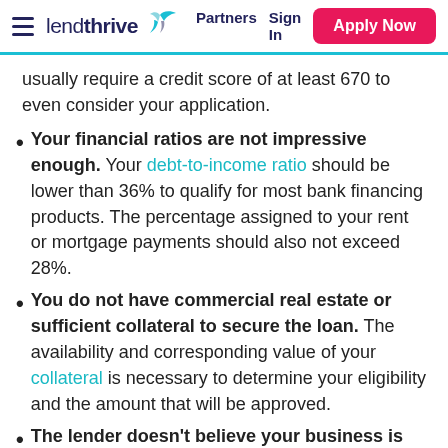lendthrive Partners Sign In Apply Now
usually require a credit score of at least 670 to even consider your application.
Your financial ratios are not impressive enough. Your debt-to-income ratio should be lower than 36% to qualify for most bank financing products. The percentage assigned to your rent or mortgage payments should also not exceed 28%.
You do not have commercial real estate or sufficient collateral to secure the loan. The availability and corresponding value of your collateral is necessary to determine your eligibility and the amount that will be approved.
The lender doesn't believe your business is stable or profitable enough